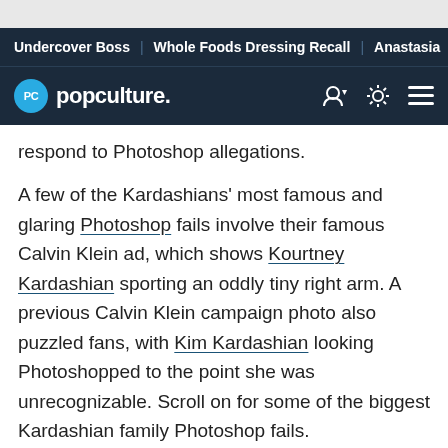Undercover Boss | Whole Foods Dressing Recall | Anastasia
popculture.
respond to Photoshop allegations.
A few of the Kardashians' most famous and glaring Photoshop fails involve their famous Calvin Klein ad, which shows Kourtney Kardashian sporting an oddly tiny right arm. A previous Calvin Klein campaign photo also puzzled fans, with Kim Kardashian looking Photoshopped to the point she was unrecognizable. Scroll on for some of the biggest Kardashian family Photoshop fails.
Khloe's Photoshop Skills 'Betray' Her